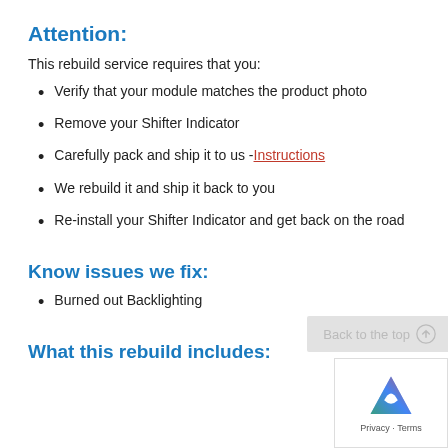Attention:
This rebuild service requires that you:
Verify that your module matches the product photo
Remove your Shifter Indicator
Carefully pack and ship it to us - Instructions
We rebuild it and ship it back to you
Re-install your Shifter Indicator and get back on the road
Know issues we fix:
Burned out Backlighting
What this rebuild includes: